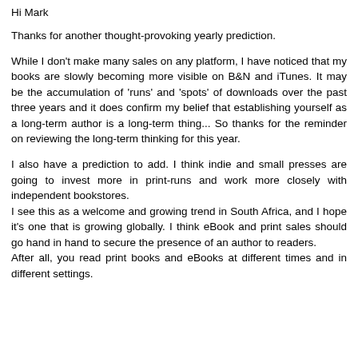Hi Mark
Thanks for another thought-provoking yearly prediction.
While I don't make many sales on any platform, I have noticed that my books are slowly becoming more visible on B&N and iTunes. It may be the accumulation of 'runs' and 'spots' of downloads over the past three years and it does confirm my belief that establishing yourself as a long-term author is a long-term thing... So thanks for the reminder on reviewing the long-term thinking for this year.
I also have a prediction to add. I think indie and small presses are going to invest more in print-runs and work more closely with independent bookstores.
I see this as a welcome and growing trend in South Africa, and I hope it's one that is growing globally. I think eBook and print sales should go hand in hand to secure the presence of an author to readers.
After all, you read print books and eBooks at different times and in different settings.